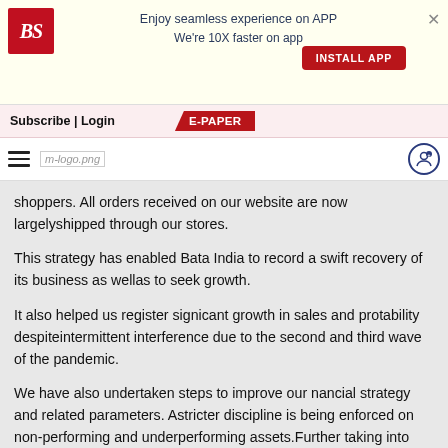Enjoy seamless experience on APP
We're 10X faster on app
INSTALL APP
Subscribe | Login  E-PAPER
m-logo.png
shoppers. All orders received on our website are now largelyshipped through our stores.
This strategy has enabled Bata India to record a swift recovery of its business as wellas to seek growth.
It also helped us register signi cant growth in sales and pro tability despiteintermittent interference due to the second and third wave of the pandemic.
We have also undertaken steps to improve our nancial strategy and related parameters. Astricter discipline is being enforced on non-performing and underperforming assets.Further taking into account our current and future liquidity position we undertookproactive steps to distribute the surplus and low-yielding cash balance available with theCompany through a one-time special dividend of 1090% including an